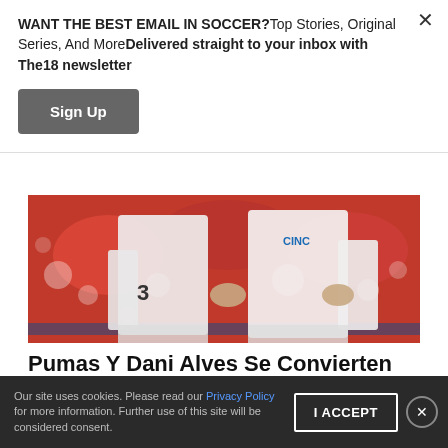WANT THE BEST EMAIL IN SOCCER?Top Stories, Original Series, And MoreDelivered straight to your inbox with The18 newsletter
Sign Up
[Figure (photo): Soccer players in white uniforms on a red-blurred background]
Pumas Y Dani Alves Se Convierten En El Hazmerreír De La Liga MX
Los de la UNAM no ganan desde que llegó el brasileño.
By Luis Vidal
Our site uses cookies. Please read our Privacy Policy for more information. Further use of this site will be considered consent.
I ACCEPT